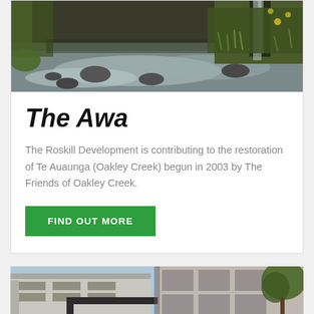[Figure (photo): Nature photo showing a rushing stream or creek with rocks, lush green vegetation, grasses and a waterfall in the background]
The Awa
The Roskill Development is contributing to the restoration of Te Auaunga (Oakley Creek) begun in 2003 by The Friends of Oakley Creek.
FIND OUT MORE
[Figure (photo): Partial photo of modern apartment or residential building exterior with grey brick and trees]